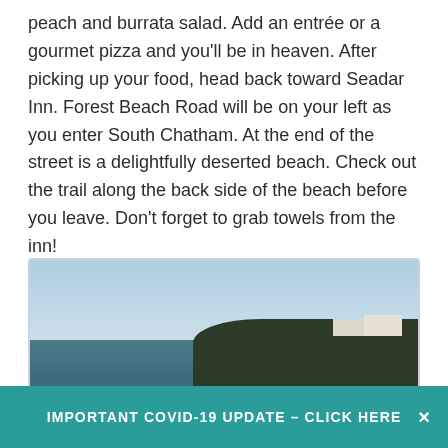peach and burrata salad. Add an entrée or a gourmet pizza and you'll be in heaven. After picking up your food, head back toward Seadar Inn. Forest Beach Road will be on your left as you enter South Chatham. At the end of the street is a delightfully deserted beach. Check out the trail along the back side of the beach before you leave. Don't forget to grab towels from the inn!
[Figure (photo): A coastal beach scene showing choppy waves crashing on a rocky shore with white foam, a sandy beach strip, and a tree-covered headland with houses visible in the background under a light blue sky.]
IMPORTANT COVID-19 UPDATE – CLICK HERE